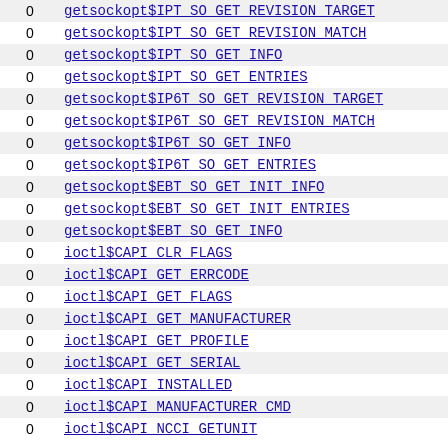|  |  |
| --- | --- |
| 0 | getsockopt$IPT_SO_GET_REVISION_TARGET |
| 0 | getsockopt$IPT_SO_GET_REVISION_MATCH |
| 0 | getsockopt$IPT_SO_GET_INFO |
| 0 | getsockopt$IPT_SO_GET_ENTRIES |
| 0 | getsockopt$IP6T_SO_GET_REVISION_TARGET |
| 0 | getsockopt$IP6T_SO_GET_REVISION_MATCH |
| 0 | getsockopt$IP6T_SO_GET_INFO |
| 0 | getsockopt$IP6T_SO_GET_ENTRIES |
| 0 | getsockopt$EBT_SO_GET_INIT_INFO |
| 0 | getsockopt$EBT_SO_GET_INIT_ENTRIES |
| 0 | getsockopt$EBT_SO_GET_INFO |
| 0 | ioctl$CAPI_CLR_FLAGS |
| 0 | ioctl$CAPI_GET_ERRCODE |
| 0 | ioctl$CAPI_GET_FLAGS |
| 0 | ioctl$CAPI_GET_MANUFACTURER |
| 0 | ioctl$CAPI_GET_PROFILE |
| 0 | ioctl$CAPI_GET_SERIAL |
| 0 | ioctl$CAPI_INSTALLED |
| 0 | ioctl$CAPI_MANUFACTURER_CMD |
| 0 | ioctl$CAPI_NCCI_GETUNIT |